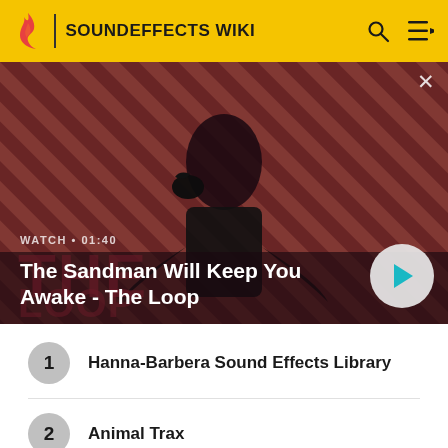SOUNDEFFECTS WIKI
[Figure (screenshot): Hero video thumbnail for 'The Sandman Will Keep You Awake - The Loop' with WATCH • 01:40 label and play button. Dark atmospheric image of a man in black with a crow on his shoulder against a striped red/dark background.]
WATCH • 01:40
The Sandman Will Keep You Awake - The Loop
1  Hanna-Barbera Sound Effects Library
2  Animal Trax